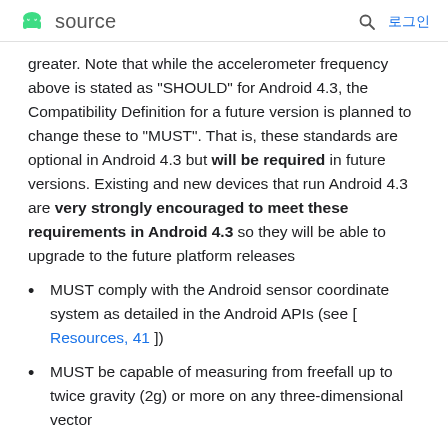source  로그인
greater. Note that while the accelerometer frequency above is stated as "SHOULD" for Android 4.3, the Compatibility Definition for a future version is planned to change these to "MUST". That is, these standards are optional in Android 4.3 but will be required in future versions. Existing and new devices that run Android 4.3 are very strongly encouraged to meet these requirements in Android 4.3 so they will be able to upgrade to the future platform releases
MUST comply with the Android sensor coordinate system as detailed in the Android APIs (see [ Resources, 41 ])
MUST be capable of measuring from freefall up to twice gravity (2g) or more on any three-dimensional vector